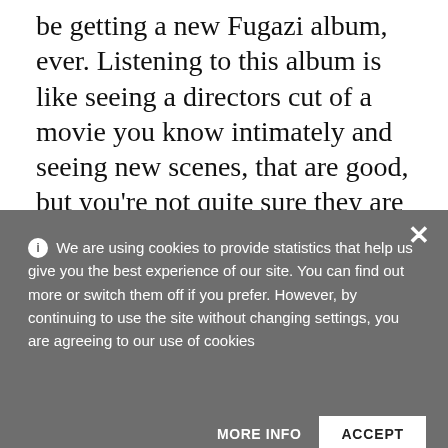be getting a new Fugazi album, ever. Listening to this album is like seeing a directors cut of a movie you know intimately and seeing new scenes, that are good, but you're not quite sure they are "supposed" to be there. The more
We are using cookies to provide statistics that help us give you the best experience of our site. You can find out more or switch them off if you prefer. However, by continuing to use the site without changing settings, you are agreeing to our use of cookies
Mackaye's new band after Minor Threat, I had the Egg Hunt 7" but